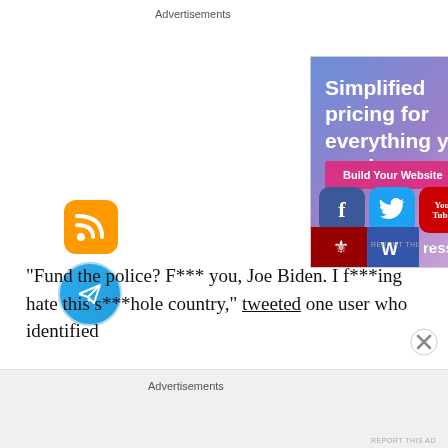Advertisements
[Figure (screenshot): WordPress.com advertisement banner with gradient blue-purple background showing 'Simplified pricing for everything you need.' headline, a pink 'Build Your Website' button, a tan price tag illustration, and social media icons including Facebook, Twitter, YouTube, a frog icon, RSS, Telegram, and WordPress.com logo.]
REPORT THIS AD
“Fund the police? F*** you, Joe Biden. I f***ing hate this s***hole country,” tweeted one user who identified
Advertisements
REPORT THIS AD